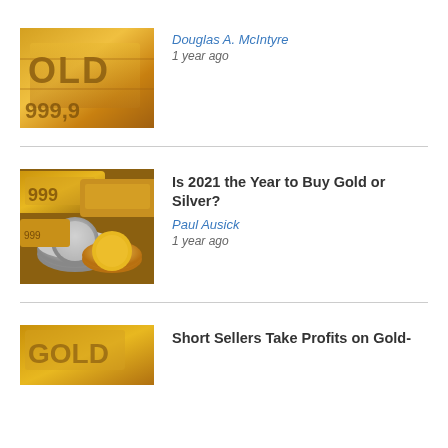[Figure (photo): Close-up photo of gold bars with text GOLD and 999.9 engraved]
Douglas A. McIntyre
1 year ago
Is 2021 the Year to Buy Gold or Silver?
[Figure (photo): Photo of gold bars and silver coins stacked together]
Paul Ausick
1 year ago
Short Sellers Take Profits on Gold-